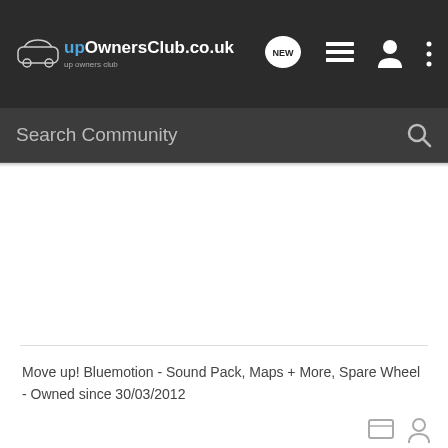upOwnersClub.co.uk — navigation bar with logo and icons
Search Community
Move up! Bluemotion - Sound Pack, Maps + More, Spare Wheel - Owned since 30/03/2012